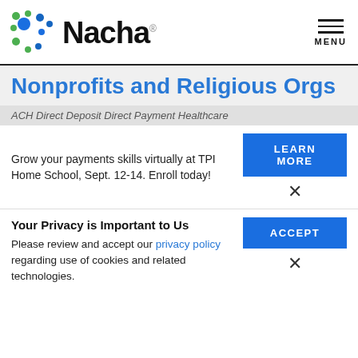[Figure (logo): Nacha logo with colored dots pattern (green and blue dots) and bold 'Nacha' wordmark]
Nonprofits and Religious Orgs
ACH Direct Deposit Direct Payment Healthcare
Grow your payments skills virtually at TPI Home School, Sept. 12-14. Enroll today!
LEARN MORE
Your Privacy is Important to Us
Please review and accept our privacy policy regarding use of cookies and related technologies.
ACCEPT